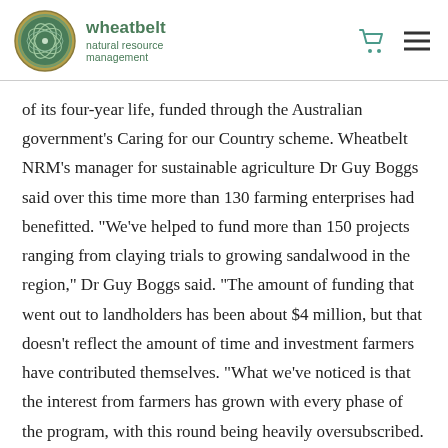wheatbelt natural resource management
of its four-year life, funded through the Australian government’s Caring for our Country scheme. Wheatbelt NRM’s manager for sustainable agriculture Dr Guy Boggs said over this time more than 130 farming enterprises had benefitted. “We’ve helped to fund more than 150 projects ranging from claying trials to growing sandalwood in the region,” Dr Guy Boggs said. “The amount of funding that went out to landholders has been about $4 million, but that doesn’t reflect the amount of time and investment farmers have contributed themselves. “What we’ve noticed is that the interest from farmers has grown with every phase of the program, with this round being heavily oversubscribed.